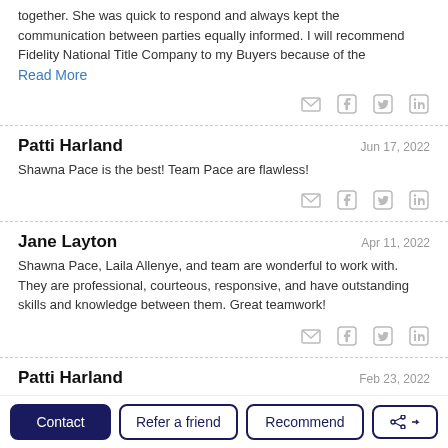together. She was quick to respond and always kept the communication between parties equally informed. I will recommend Fidelity National Title Company to my Buyers because of the
Read More
Patti Harland — Jun 17, 2022
Shawna Pace is the best! Team Pace are flawless!
Jane Layton — Apr 11, 2022
Shawna Pace, Laila Allenye, and team are wonderful to work with. They are professional, courteous, responsive, and have outstanding skills and knowledge between them. Great teamwork!
Patti Harland — Feb 23, 2022
Contact | Refer a friend | Recommend | Share